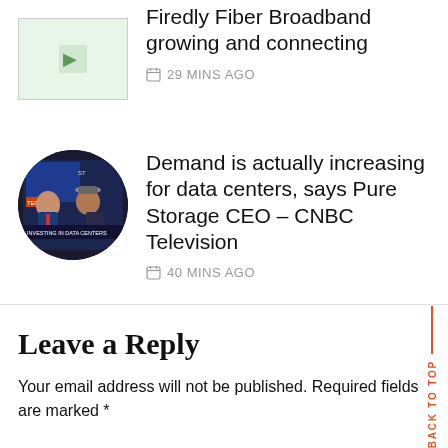Firedly Fiber Broadband growing and connecting
29 MINS AGO
[Figure (photo): Circular thumbnail showing two men on a TV broadcast set (CNBC Television)]
Demand is actually increasing for data centers, says Pure Storage CEO – CNBC Television
40 MINS AGO
Leave a Reply
Your email address will not be published. Required fields are marked *